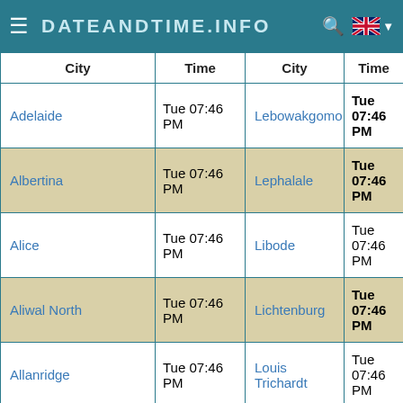DATEANDTIME.INFO
| City | Time | City | Time |
| --- | --- | --- | --- |
| Adelaide | Tue 07:46 PM | Lebowakgomo | Tue 07:46 PM |
| Albertina | Tue 07:46 PM | Lephalale | Tue 07:46 PM |
| Alice | Tue 07:46 PM | Libode | Tue 07:46 PM |
| Aliwal North | Tue 07:46 PM | Lichtenburg | Tue 07:46 PM |
| Allanridge | Tue 07:46 PM | Louis Trichardt | Tue 07:46 PM |
| Apel | Tue 07:46 PM | Lydenburg | Tue 07:46 PM |
| Arniston | Tue 07:46 PM | Mabopane | Tue 07:46 PM |
| Ashton | Tue 07:46 PM | Maclear | Tue 07:46 PM |
|  | Tue 07:46 |  | Tue 07:46 |